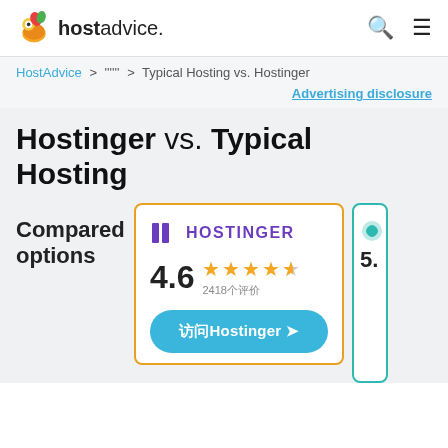hostadvice.
HostAdvice > 比較ホスティング > Typical Hosting vs. Hostinger
Advertising disclosure
Hostinger vs. Typical Hosting
Compared options
[Figure (infographic): Hostinger comparison card with logo, 4.6 star rating (2418 reviews), and visit Hostinger button. Partial view of a second comparison card.]